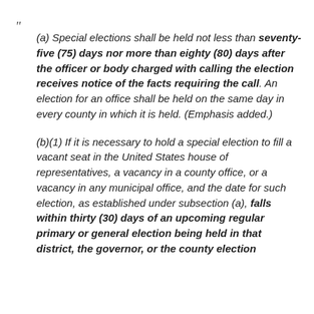“ (a) Special elections shall be held not less than seventy-five (75) days nor more than eighty (80) days after the officer or body charged with calling the election receives notice of the facts requiring the call. An election for an office shall be held on the same day in every county in which it is held. (Emphasis added.)

(b)(1) If it is necessary to hold a special election to fill a vacant seat in the United States house of representatives, a vacancy in a county office, or a vacancy in any municipal office, and the date for such election, as established under subsection (a), falls within thirty (30) days of an upcoming regular primary or general election being held in that district, the governor, or the county election